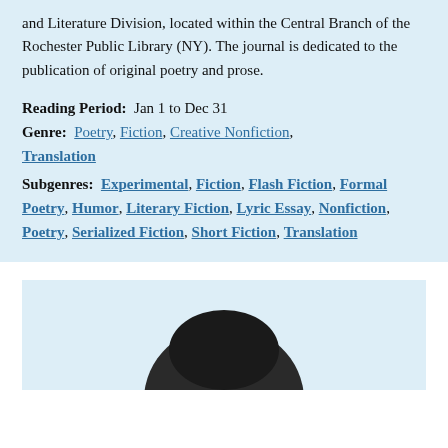and Literature Division, located within the Central Branch of the Rochester Public Library (NY). The journal is dedicated to the publication of original poetry and prose.
Reading Period: Jan 1 to Dec 31
Genre: Poetry, Fiction, Creative Nonfiction, Translation
Subgenres: Experimental, Fiction, Flash Fiction, Formal Poetry, Humor, Literary Fiction, Lyric Essay, Nonfiction, Poetry, Serialized Fiction, Short Fiction, Translation
[Figure (photo): Partial top of a person's head visible at the bottom of the page, dark hair against a light background.]